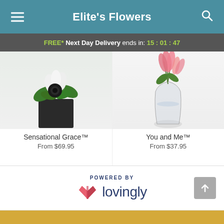Elite's Flowers
FREE* Next Day Delivery ends in: 15:01:47
[Figure (photo): Flower arrangement: Sensational Grace - dark flower with white lilies in black square vase with green leaves]
Sensational Grace™
From $69.95
[Figure (photo): Flower arrangement: You and Me - pink tulips/lilies in clear glass vase]
You and Me™
From $37.95
[Figure (logo): Powered by lovingly logo with pink heart/book icon]
Start Order